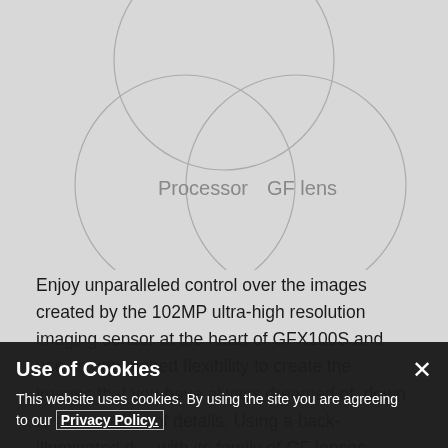GFX100S   SENSOR
[Figure (infographic): Venn diagram with three overlapping circles. Top circle unlabeled (partially cut off at top), bottom-left circle labeled 'Processor', bottom-right circle labeled 'GF lens'. All circles outlined in gray on a light gray background.]
Enjoy unparalleled control over the images created by the 102MP ultra-high resolution imaging sensor at the heart of GFX100S and use its unmatched flexibility to create the images that you have always dreamed of, down to the smallest of details. Using a back-illuminated d... with its family of GF lenses – optimising light capture for... one of its 1... esty of this camera is truly realized once the image data is passed through the quad-
Use of Cookies
This website uses cookies. By using the site you are agreeing to our Privacy Policy.